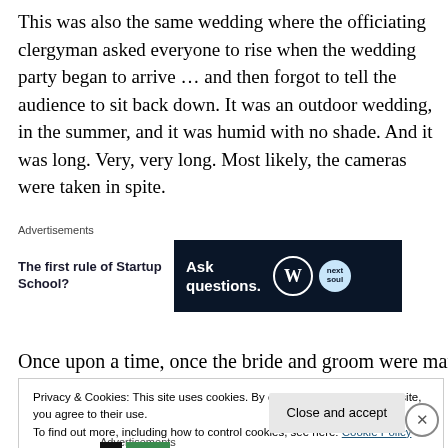This was also the same wedding where the officiating clergyman asked everyone to rise when the wedding party began to arrive … and then forgot to tell the audience to sit back down. It was an outdoor wedding, in the summer, and it was humid with no shade. And it was long. Very, very long. Most likely, the cameras were taken in spite.
[Figure (screenshot): Advertisement section with text 'The first rule of Startup School?' on the left and a dark banner with 'Ask questions.' text and WordPress and another logo on the right, labeled 'Advertisements' above.]
Once upon a time, once the bride and groom were married
Privacy & Cookies: This site uses cookies. By continuing to use this website, you agree to their use.
To find out more, including how to control cookies, see here: Cookie Policy
Close and accept
Advertisements